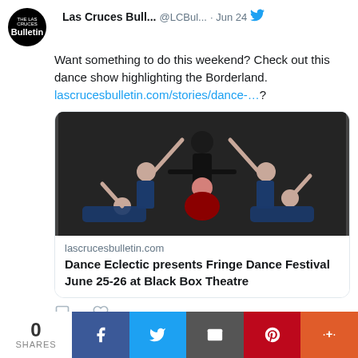Las Cruces Bull... @LCBul... · Jun 24
Want something to do this weekend? Check out this dance show highlighting the Borderland. lascrucesbulletin.com/stories/dance-...?
[Figure (photo): Dancers posing in studio, dark background, some lifting legs]
lascrucesbulletin.com
Dance Eclectic presents Fringe Dance Festival June 25-26 at Black Box Theatre
0 SHARES